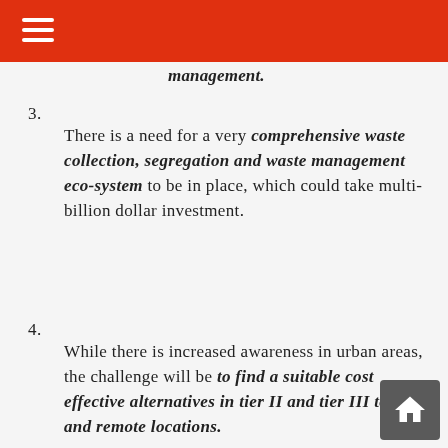management. (partial, cut off at top)
3. There is a need for a very comprehensive waste collection, segregation and waste management eco-system to be in place, which could take multi-billion dollar investment.
4. While there is increased awareness in urban areas, the challenge will be to find a suitable cost effective alternatives in tier II and tier III towns and remote locations.